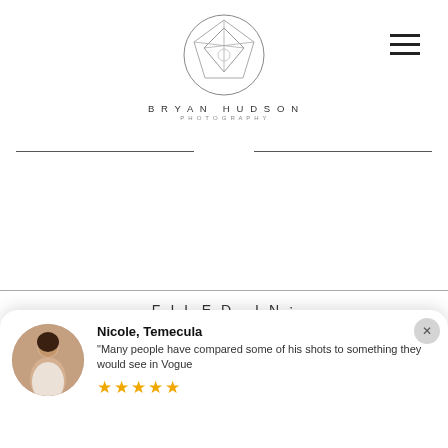[Figure (logo): Bryan Hudson Photography logo: geometric circle with triangular/crystalline shape inside, with text BRYAN HUDSON PHOTOGRAPHY below]
FILED IN:
Tips, Weddings
Nicole, Temecula
"Many people have compared some of his shots to something they would see in Vogue
★★★★★